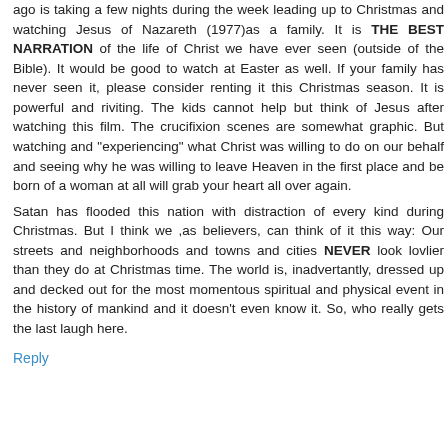ago is taking a few nights during the week leading up to Christmas and watching Jesus of Nazareth (1977)as a family. It is THE BEST NARRATION of the life of Christ we have ever seen (outside of the Bible). It would be good to watch at Easter as well. If your family has never seen it, please consider renting it this Christmas season. It is powerful and riviting. The kids cannot help but think of Jesus after watching this film. The crucifixion scenes are somewhat graphic. But watching and "experiencing" what Christ was willing to do on our behalf and seeing why he was willing to leave Heaven in the first place and be born of a woman at all will grab your heart all over again.
Satan has flooded this nation with distraction of every kind during Christmas. But I think we ,as believers, can think of it this way: Our streets and neighborhoods and towns and cities NEVER look lovlier than they do at Christmas time. The world is, inadvertantly, dressed up and decked out for the most momentous spiritual and physical event in the history of mankind and it doesn't even know it. So, who really gets the last laugh here.
Reply